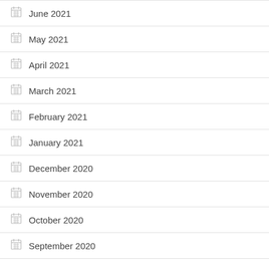June 2021
May 2021
April 2021
March 2021
February 2021
January 2021
December 2020
November 2020
October 2020
September 2020